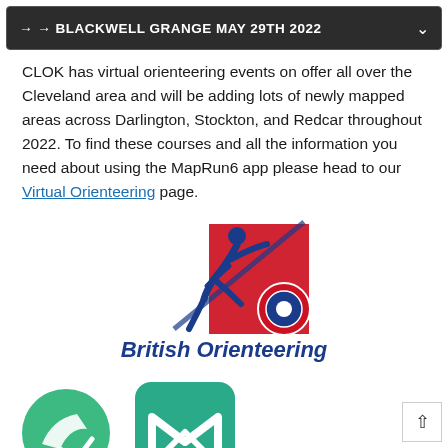→ → BLACKWELL GRANGE MAY 29TH 2022
CLOK has virtual orienteering events on offer all over the Cleveland area and will be adding lots of newly mapped areas across Darlington, Stockton, and Redcar throughout 2022. To find these courses and all the information you need about using the MapRun6 app please head to our Virtual Orienteering page.
[Figure (logo): British Orienteering logo — stylized runner figure in blue and red with a compass/orienteering symbol, text 'British Orienteering' in blue italic below]
[Figure (logo): Two app icons at bottom: left is a green rounded icon with a white puzzle/map arrow shape; right is a teal rounded rectangle icon with a white M-like arrow shape]